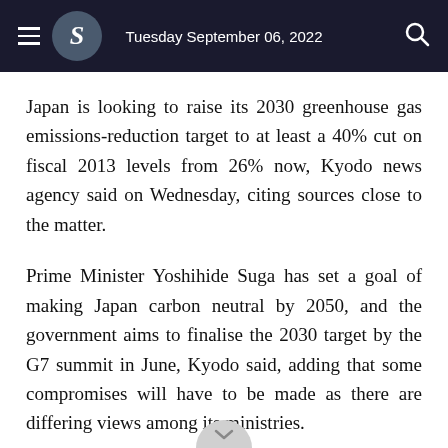Tuesday September 06, 2022
Japan is looking to raise its 2030 greenhouse gas emissions-reduction target to at least a 40% cut on fiscal 2013 levels from 26% now, Kyodo news agency said on Wednesday, citing sources close to the matter.
Prime Minister Yoshihide Suga has set a goal of making Japan carbon neutral by 2050, and the government aims to finalise the 2030 target by the G7 summit in June, Kyodo said, adding that some compromises will have to be made as there are differing views among its ministries.